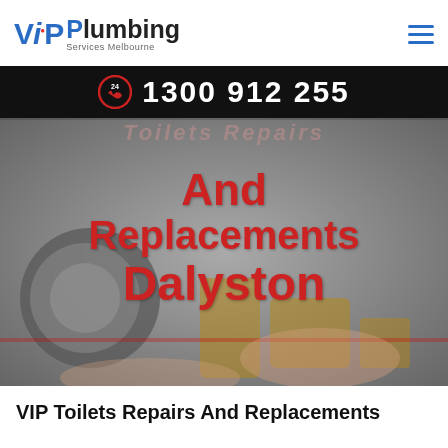VIP Plumbing Services Melbourne
1300 912 255
[Figure (screenshot): Hero image showing hands working on plumbing/mechanical components with overlaid red text reading 'And Replacements Dalyston' and faded italic text at top]
VIP Toilets Repairs And Replacements